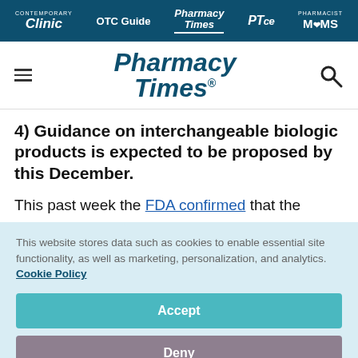Contemporary Clinic | OTC Guide | Pharmacy Times | PTce | Pharmacist Moms
[Figure (logo): Pharmacy Times logo with hamburger menu and search icon]
4) Guidance on interchangeable biologic products is expected to be proposed by this December.
This past week the FDA confirmed that the
This website stores data such as cookies to enable essential site functionality, as well as marketing, personalization, and analytics. Cookie Policy
Accept
Deny